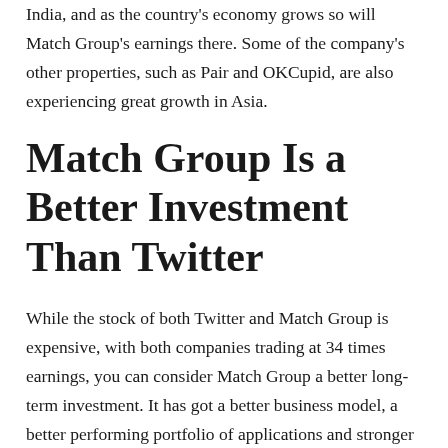India, and as the country's economy grows so will Match Group's earnings there. Some of the company's other properties, such as Pair and OKCupid, are also experiencing great growth in Asia.
Match Group Is a Better Investment Than Twitter
While the stock of both Twitter and Match Group is expensive, with both companies trading at 34 times earnings, you can consider Match Group a better long-term investment. It has got a better business model, a better performing portfolio of applications and stronger growth expectations.